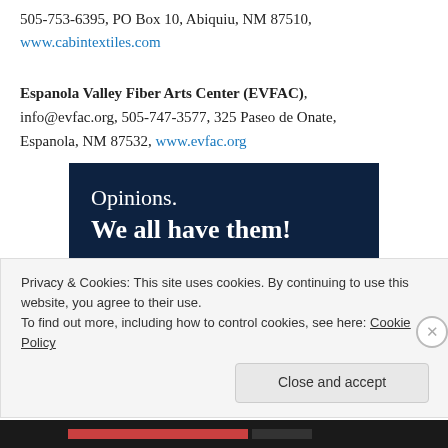505-753-6395, PO Box 10, Abiquiu, NM 87510, www.cabintextiles.com
Espanola Valley Fiber Arts Center (EVFAC), info@evfac.org, 505-747-3577, 325 Paseo de Onate, Espanola, NM 87532, www.evfac.org
[Figure (other): Advertisement with dark navy background showing text: 'Opinions. We all have them!' with a pink button and white circle, partially visible at bottom.]
Privacy & Cookies: This site uses cookies. By continuing to use this website, you agree to their use.
To find out more, including how to control cookies, see here: Cookie Policy